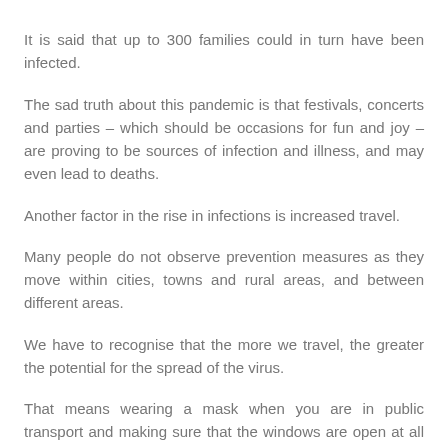It is said that up to 300 families could in turn have been infected.
The sad truth about this pandemic is that festivals, concerts and parties – which should be occasions for fun and joy – are proving to be sources of infection and illness, and may even lead to deaths.
Another factor in the rise in infections is increased travel.
Many people do not observe prevention measures as they move within cities, towns and rural areas, and between different areas.
We have to recognise that the more we travel, the greater the potential for the spread of the virus.
That means wearing a mask when you are in public transport and making sure that the windows are open at all times.
It also means reducing the number of people that you spend time with if you are travelling to visit family and friends in other parts of the country.